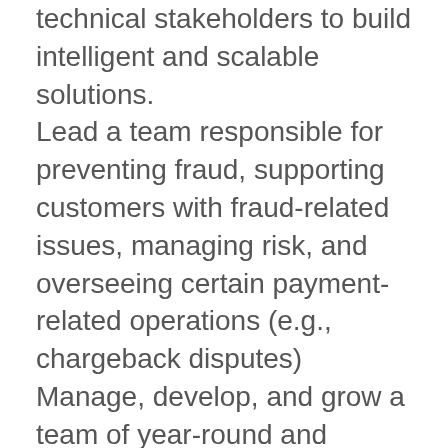technical stakeholders to build intelligent and scalable solutions.
Lead a team responsible for preventing fraud, supporting customers with fraud-related issues, managing risk, and overseeing certain payment-related operations (e.g., chargeback disputes)
Manage, develop, and grow a team of year-round and seasonal fraud analysts and specialists
Ability to make data-driven decisions and closely collaborate with our data scientists to improve our fraud prevention
Collaborate with product managers and software engineers to design the tools necessary to further automate and streamline our processes
Provide feedback and present ideas for improving or implementing processes and tools